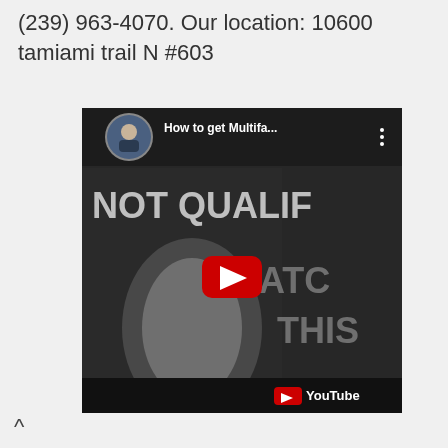(239) 963-4070. Our location: 10600 tamiami trail N #603
[Figure (screenshot): YouTube video thumbnail showing a man in a white shirt with text 'NOT QUALIF...' and 'WATCH THIS' overlay, titled 'How to get Multifa...' with a YouTube play button in the center and YouTube logo in the bottom right corner.]
^